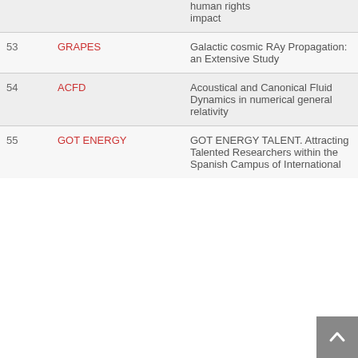| # | Name | Description | Year |
| --- | --- | --- | --- |
|  |  | human rights impact |  |
| 53 | GRAPES | Galactic cosmic RAy Propagation: an Extensive Study | 201 |
| 54 | ACFD | Acoustical and Canonical Fluid Dynamics in numerical general relativity | 201 |
| 55 | GOT ENERGY | GOT ENERGY TALENT. Attracting Talented Researchers within the Spanish Campus of International | 201 |